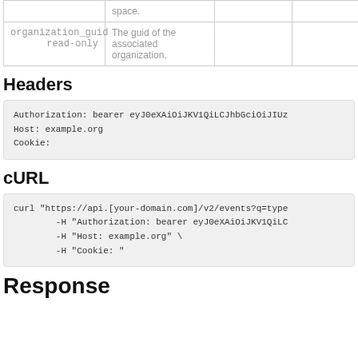|  |  |  |  |
| --- | --- | --- | --- |
|  | space. |  |  |
| organization_guid
read-only | The guid of the associated organization. |  |  |
Headers
Authorization: bearer eyJ0eXAiOiJKV1QiLCJhbGciOiJIUz
Host: example.org
Cookie:
cURL
curl "https://api.[your-domain.com]/v2/events?q=type
        -H "Authorization: bearer eyJ0eXAiOiJKV1QiLC
        -H "Host: example.org" \
        -H "Cookie: "
Response